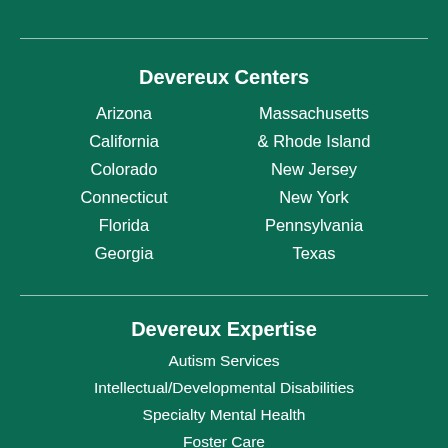Devereux Centers
Arizona
California
Colorado
Connecticut
Florida
Georgia
Massachusetts & Rhode Island
New Jersey
New York
Pennsylvania
Texas
Devereux Expertise
Autism Services
Intellectual/Developmental Disabilities
Specialty Mental Health
Foster Care
Resilience Resources and Training
School-Based Prevention/Intervention